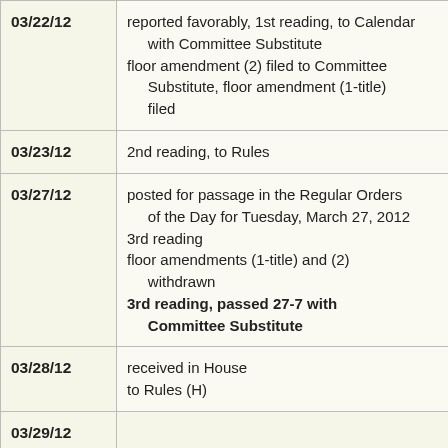| Date | Action |
| --- | --- |
| 03/22/12 | reported favorably, 1st reading, to Calendar with Committee Substitute
floor amendment (2) filed to Committee Substitute, floor amendment (1-title) filed |
| 03/23/12 | 2nd reading, to Rules |
| 03/27/12 | posted for passage in the Regular Orders of the Day for Tuesday, March 27, 2012
3rd reading
floor amendments (1-title) and (2) withdrawn
3rd reading, passed 27-7 with Committee Substitute |
| 03/28/12 | received in House
to Rules (H) |
| 03/29/12 | ... |